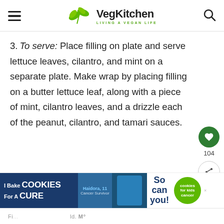VegKitchen — Living a Vegan Life
To serve: Place filling on plate and serve lettuce leaves, cilantro, and mint on a separate plate. Make wrap by placing filling on a butter lettuce leaf, along with a piece of mint, cilantro leaves, and a drizzle each of the peanut, cilantro, and tamari sauces.
[Figure (infographic): Advertisement banner: I Bake Cookies For A Cure - Haidora, 11 Cancer Survivor - So can you! - cookies for kids cancer - with photo of a girl]
Fi... ld. M°